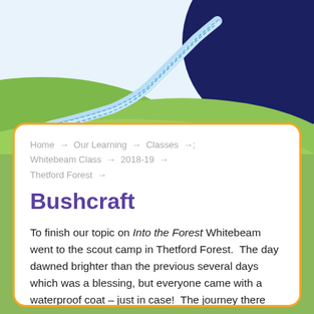[Figure (illustration): Decorative illustration showing green rolling hills with a winding dotted river/stream and a large dark navy blue circular shape in the upper right corner, with a light blue sky background.]
Home → Our Learning → Classes → Whitebeam Class → 2018-19 → Thetford Forest →
Bushcraft
To finish our topic on Into the Forest Whitebeam went to the scout camp in Thetford Forest. The day dawned brighter than the previous several days which was a blessing, but everyone came with a waterproof coat – just in case! The journey there was eventful as we hadn't been told the coach needed to go through the power station to